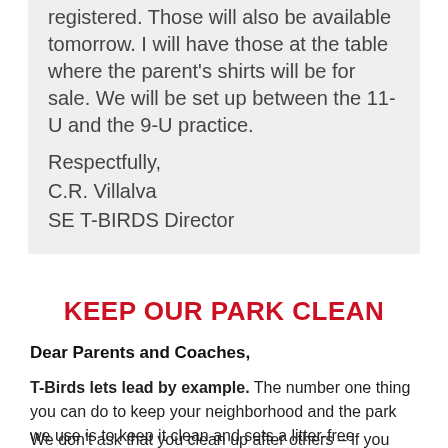registered.  Those will also be available tomorrow.  I will have those at the table where the parent's shirts will be for sale.  We will be set up between the 11-U and the 9-U practice.
Respectfully,
C.R. Villalva
SE T-BIRDS Director
KEEP OUR PARK CLEAN
Dear Parents and Coaches,
T-Birds lets lead by example. The number one thing you can do to keep your neighborhood and the park we use is to keep it clean and sets a litter-free example for others.
We don't ask that you clean up after others – if you would like